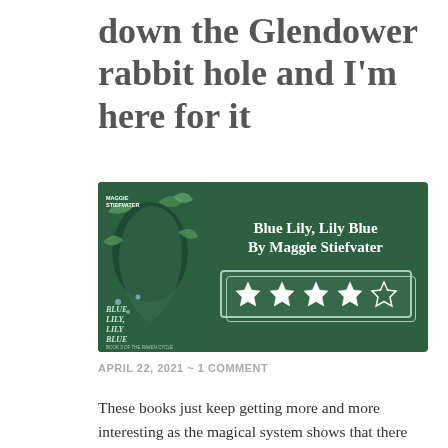down the Glendower rabbit hole and I'm here for it
[Figure (illustration): Book banner with green background showing Blue Lily, Lily Blue by Maggie Stiefvater. Left side shows the book cover with a face and floral design. Right side shows the title text and 4 out of 5 stars rating.]
APRIL 22, 2021  ~  1 COMMENT
These books just keep getting more and more interesting as the magical system shows that there are very few rules. Every time I think I know all the